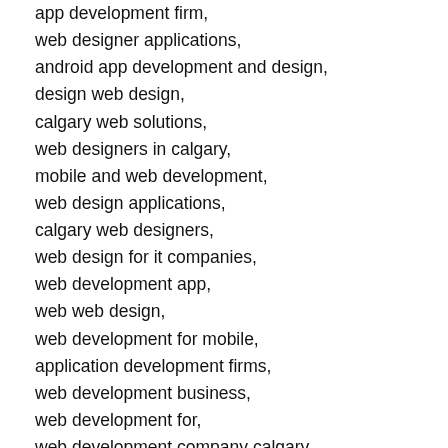app development firm,
web designer applications,
android app development and design,
design web design,
calgary web solutions,
web designers in calgary,
mobile and web development,
web design applications,
calgary web designers,
web design for it companies,
web development app,
web web design,
web development for mobile,
application development firms,
web development business,
web development for,
web development company calgary,